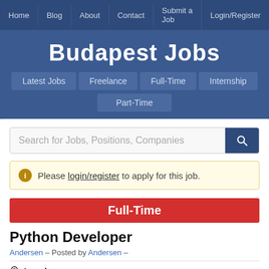Home | Blog | About | Contact | Submit a Job | Login/Register
Budapest Jobs
Latest Jobs
Freelance
Full-Time
Internship
Part-Time
Search for Jobs, Positions, Companies
Please login/register to apply for this job.
Full-Time
Python Developer
Andersen – Posted by Andersen –
Anywhere